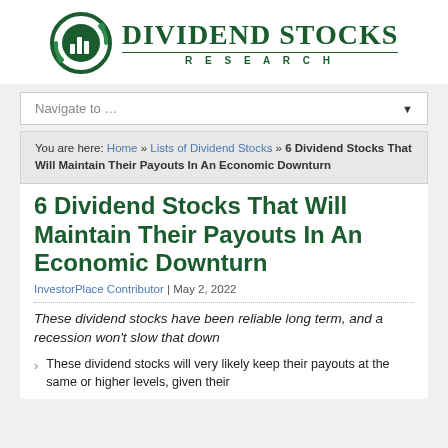[Figure (logo): Dividend Stocks Research logo with green circular icon containing bar chart and arrows, alongside bold green serif text 'DIVIDEND STOCKS RESEARCH']
Navigate to ...
You are here: Home » Lists of Dividend Stocks » 6 Dividend Stocks That Will Maintain Their Payouts In An Economic Downturn
6 Dividend Stocks That Will Maintain Their Payouts In An Economic Downturn
InvestorPlace Contributor | May 2, 2022
These dividend stocks have been reliable long term, and a recession won't slow that down
These dividend stocks will very likely keep their payouts at the same or higher levels, given their